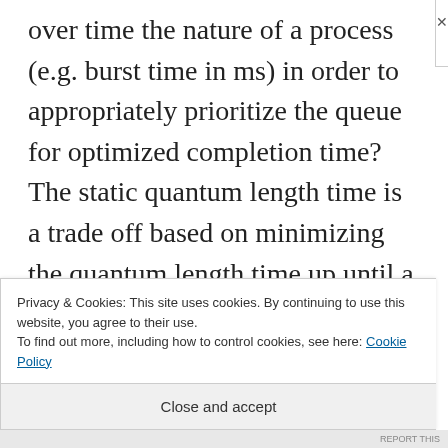over time the nature of a process (e.g. burst time in ms) in order to appropriately prioritize the queue for optimized completion time? The static quantum length time is a trade off based on minimizing the quantum length time up until a reasonable context switch overhead. If we know the processes and have a model for how they behave given environmental
Privacy & Cookies: This site uses cookies. By continuing to use this website, you agree to their use.
To find out more, including how to control cookies, see here: Cookie Policy
Close and accept